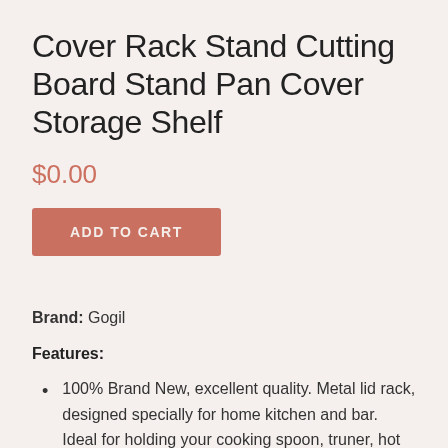Cover Rack Stand Cutting Board Stand Pan Cover Storage Shelf
$0.00
ADD TO CART
Brand: Gogil
Features:
100% Brand New, excellent quality. Metal lid rack, designed specially for home kitchen and bar. Ideal for holding your cooking spoon, truner, hot pot lids.